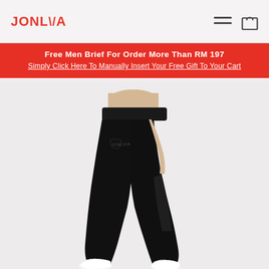JONLVIA
Free Men Brief For Order More Than RM 197
Simply Click Here To Manually Insert Your Free Gift To Your Cart
[Figure (photo): Model wearing black high-waist leggings with white sneakers, side/back view, on a light background. Small JONLVIA logo text visible on the hip area.]